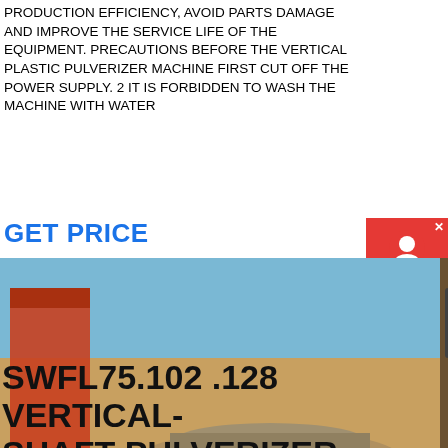PRODUCTION EFFICIENCY, AVOID PARTS DAMAGE AND IMPROVE THE SERVICE LIFE OF THE EQUIPMENT. PRECAUTIONS BEFORE THE VERTICAL PLASTIC PULVERIZER MACHINE FIRST CUT OFF THE POWER SUPPLY. 2 IT IS FORBIDDEN TO WASH THE MACHINE WITH WATER
GET PRICE
[Figure (photo): Industrial vertical-shaft pulverizer machine photographed outdoors on a construction or mining site. Large heavy orange and brown metallic machinery with springs, gears, and a cylindrical body. Control panel visible in background.]
SWFL75.102 .128 VERTICAL-SHAFT PULVERIZER OPERATION